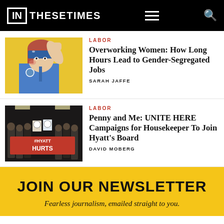IN THESE TIMES
[Figure (photo): Rosie the Riveter illustration — woman in blue shirt flexing her arm on yellow background]
LABOR
Overworking Women: How Long Hours Lead to Gender-Segregated Jobs
SARAH JAFFE
[Figure (photo): Protesters holding a banner reading #HYATT HURTS at a labor demonstration]
LABOR
Penny and Me: UNITE HERE Campaigns for Housekeeper To Join Hyatt's Board
DAVID MOBERG
JOIN OUR NEWSLETTER
Fearless journalism, emailed straight to you.